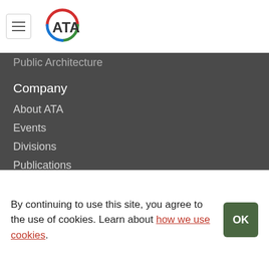[Figure (logo): ATA logo with circular arc in red, green, blue colors around ATA text]
Public Architecture
Company
About ATA
Events
Divisions
Publications
Support
Contact
Advertise
Membership
Member Benefits
By continuing to use this site, you agree to the use of cookies. Learn about how we use cookies.